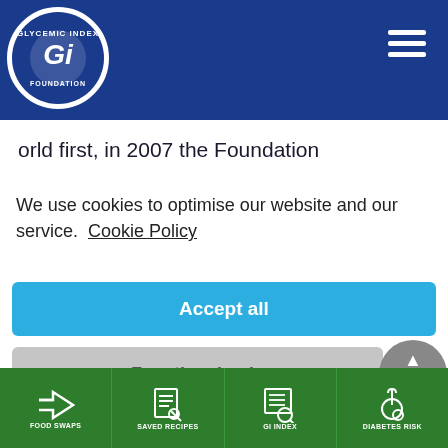[Figure (logo): Glycemic Index Foundation circular logo with 'GI' text, in white and blue, with text 'GLYCEMIC INDEX FOUNDATION' around the border]
orld first, in 2007 the Foundation
We use cookies to optimise our website and our service.  Cookie Policy
Accept all
Functional only
View preferences
[Figure (screenshot): reCAPTCHA badge with arrow up icon and Google logo, Privacy - Terms links]
FOOD SWAPS  SAVED RECIPES  GI INDEX  DIABETES RISK